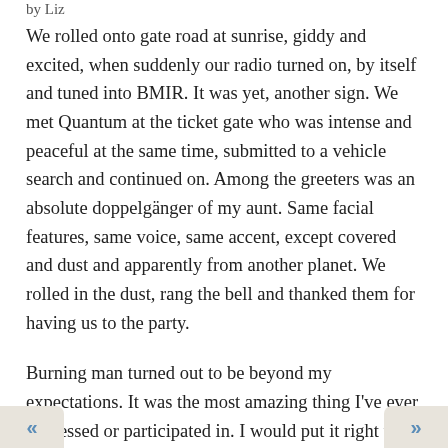by Liz
We rolled onto gate road at sunrise, giddy and excited, when suddenly our radio turned on, by itself and tuned into BMIR. It was yet, another sign. We met Quantum at the ticket gate who was intense and peaceful at the same time, submitted to a vehicle search and continued on. Among the greeters was an absolute doppelgänger of my aunt. Same facial features, same voice, same accent, except covered and dust and apparently from another planet. We rolled in the dust, rang the bell and thanked them for having us to the party.
Burning man turned out to be beyond my expectations. It was the most amazing thing I've ever witnessed or participated in. I would put it right up there with childbirth in terms of incredible things I've seen. It has ected us in ways we are still unraveling.
« »